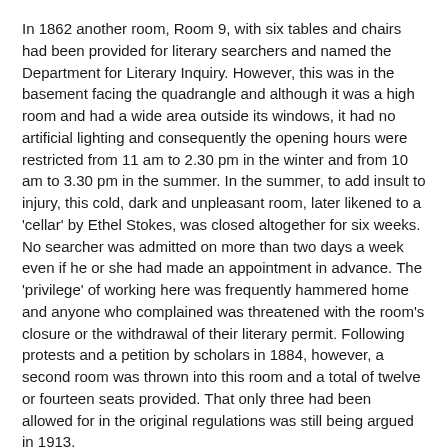In 1862 another room, Room 9, with six tables and chairs had been provided for literary searchers and named the Department for Literary Inquiry. However, this was in the basement facing the quadrangle and although it was a high room and had a wide area outside its windows, it had no artificial lighting and consequently the opening hours were restricted from 11 am to 2.30 pm in the winter and from 10 am to 3.30 pm in the summer. In the summer, to add insult to injury, this cold, dark and unpleasant room, later likened to a 'cellar' by Ethel Stokes, was closed altogether for six weeks. No searcher was admitted on more than two days a week even if he or she had made an appointment in advance. The 'privilege' of working here was frequently hammered home and anyone who complained was threatened with the room's closure or the withdrawal of their literary permit. Following protests and a petition by scholars in 1884, however, a second room was thrown into this room and a total of twelve or fourteen seats provided. That only three had been allowed for in the original regulations was still being argued in 1913.
Room 9 held duplicates of the calendars upstairs where they existed, but this was not usually until after 1660, and the others had to be requisitioned and brought down. As at Doctors' Commons the literary non-legal searchers who had obtained permits from the President of the Probate Division were here allowed to see registered copy wills prior to 1699 without charge [120]. Within three years of moving to